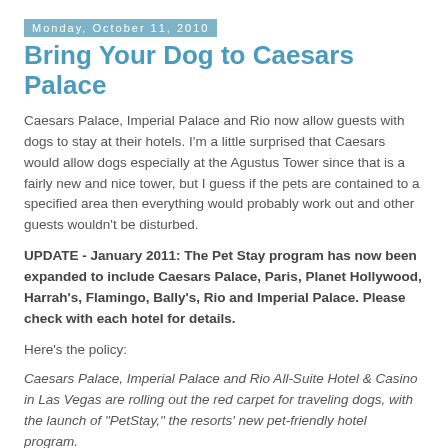Monday, October 11, 2010
Bring Your Dog to Caesars Palace
Caesars Palace, Imperial Palace and Rio now allow guests with dogs to stay at their hotels. I'm a little surprised that Caesars would allow dogs especially at the Agustus Tower since that is a fairly new and nice tower, but I guess if the pets are contained to a specified area then everything would probably work out and other guests wouldn't be disturbed.
UPDATE - January 2011: The Pet Stay program has now been expanded to include Caesars Palace, Paris, Planet Hollywood, Harrah's, Flamingo, Bally's, Rio and Imperial Palace. Please check with each hotel for details.
Here's the policy:
Caesars Palace, Imperial Palace and Rio All-Suite Hotel & Casino in Las Vegas are rolling out the red carpet for traveling dogs, with the launch of "PetStay," the resorts' new pet-friendly hotel program.